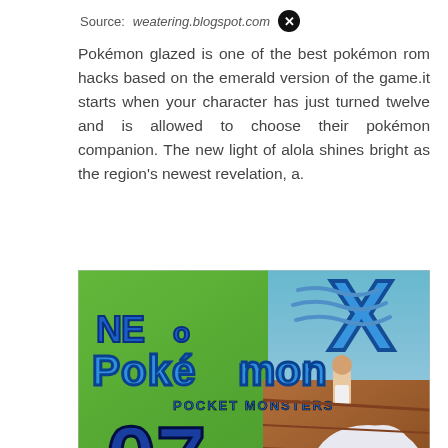Source: weatering.blogspot.com
Pokémon glazed is one of the best pokémon rom hacks based on the emerald version of the game.it starts when your character has just turned twelve and is allowed to choose their pokémon companion. The new light of alola shines bright as the region's newest revelation, a.
[Figure (photo): A colorful game cover image showing 'Neo Pokémon X - Pocket Monsters 07' with a green landscape background, a large blue Snorlax and a character on a dock, with a red up-arrow button in the bottom right.]
Source: www.youtube.com
3ds roms, 3ds roms for cit. nintendo 3ds roms,